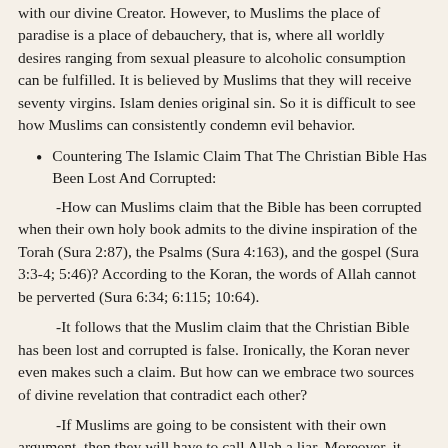with our divine Creator. However, to Muslims the place of paradise is a place of debauchery, that is, where all worldly desires ranging from sexual pleasure to alcoholic consumption can be fulfilled. It is believed by Muslims that they will receive seventy virgins. Islam denies original sin. So it is difficult to see how Muslims can consistently condemn evil behavior.
Countering The Islamic Claim That The Christian Bible Has Been Lost And Corrupted:
-How can Muslims claim that the Bible has been corrupted when their own holy book admits to the divine inspiration of the Torah (Sura 2:87), the Psalms (Sura 4:163), and the gospel (Sura 3:3-4; 5:46)? According to the Koran, the words of Allah cannot be perverted (Sura 6:34; 6:115; 10:64).
-It follows that the Muslim claim that the Christian Bible has been lost and corrupted is false. Ironically, the Koran never even makes such a claim. But how can we embrace two sources of divine revelation that contradict each other?
-If Muslims are going to be consistent with their own argument, then they will have to call Allah a liar. Moreover, it needs to be told who is the culprit for any alleged corruption in the Bible, where, and when this all happened. The text cannot be